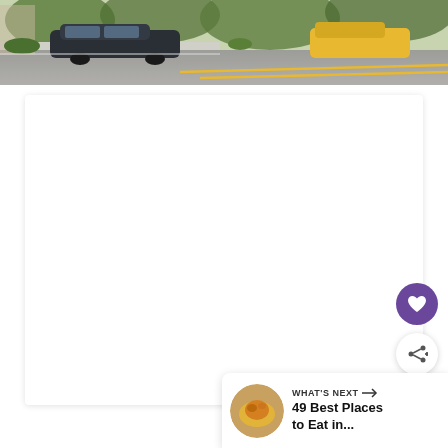[Figure (photo): Street scene showing parked cars on a residential road with yellow center line, trees and greenery in background, partial view of street.]
[Figure (screenshot): White content card area (blank/loading) on a webpage with a purple heart favorite button and a white share button on the right side, and a 'What's Next' recommendation panel in the bottom right showing '49 Best Places to Eat in...' with a food thumbnail.]